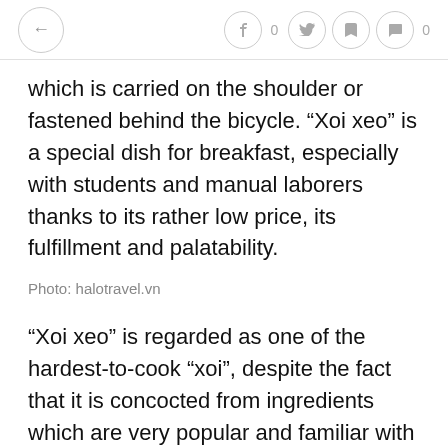← f 0 (twitter) (bookmark) 0
which is carried on the shoulder or fastened behind the bicycle. “Xoi xeo” is a special dish for breakfast, especially with students and manual laborers thanks to its rather low price, its fulfillment and palatability.
Photo: halotravel.vn
“Xoi xeo” is regarded as one of the hardest-to-cook “xoi”, despite the fact that it is concocted from ingredients which are very popular and familiar with Vietnamese. The ingredients for making “xoi xeo” remain the same everywhere: glutinous rice, turmeric powder, mung bean, shallot, and some liquid fat. The turmeric powder, mixed with water